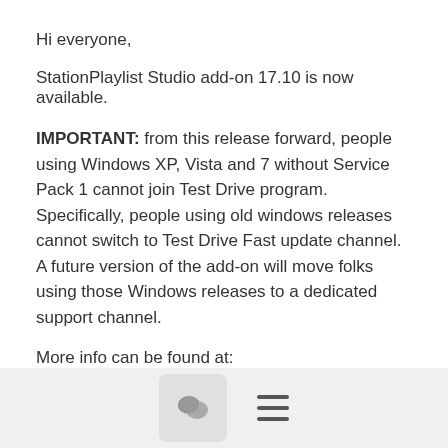Hi everyone,
StationPlaylist Studio add-on 17.10 is now available.
IMPORTANT: from this release forward, people using Windows XP, Vista and 7 without Service Pack 1 cannot join Test Drive program. Specifically, people using old windows releases cannot switch to Test Drive Fast update channel. A future version of the add-on will move folks using those Windows releases to a dedicated support channel.
More info can be found at:
https://github.com/josephsl/stationplaylist/releases/tag/17.10
Cheers,
Joseph
≡ More